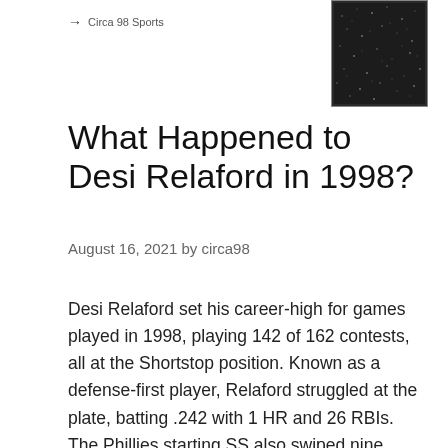→ Circa 98 Sports
[Figure (photo): A dark sports trading card image showing a field or crowd with sparkle/glitter effect]
What Happened to Desi Relaford in 1998?
August 16, 2021 by circa98
Desi Relaford set his career-high for games played in 1998, playing 142 of 162 contests, all at the Shortstop position. Known as a defense-first player, Relaford struggled at the plate, batting .242 with 1 HR and 26 RBIs. The Phillies starting SS also swiped nine bags in 14 attempts while receiving positive reviews for defensive range and arm strength. Still, he made 24 errors overall.